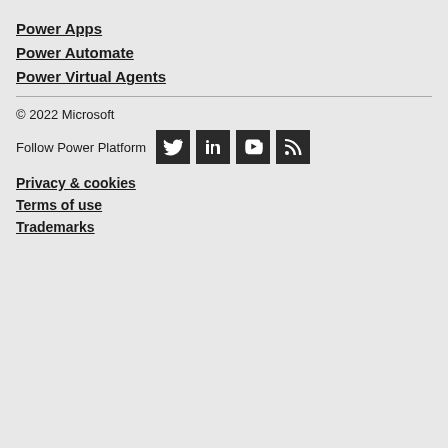Power Apps
Power Automate
Power Virtual Agents
© 2022 Microsoft
Follow Power Platform
Privacy & cookies
Terms of use
Trademarks